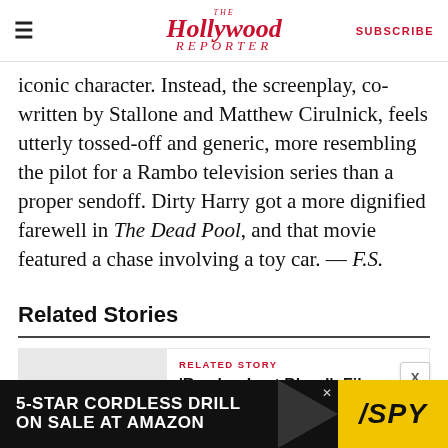The Hollywood Reporter | SUBSCRIBE
iconic character. Instead, the screenplay, co-written by Stallone and Matthew Cirulnick, feels utterly tossed-off and generic, more resembling the pilot for a Rambo television series than a proper sendoff. Dirty Harry got a more dignified farewell in The Dead Pool, and that movie featured a chase involving a toy car. — F.S.
Related Stories
RELATED STORY
'Rambo: Last Blood': Film Review
[Figure (photo): Thumbnail image placeholder for Rambo: Last Blood article]
[Figure (infographic): Advertisement banner: 5-STAR CORDLESS DRILL ON SALE AT AMAZON — SPY]